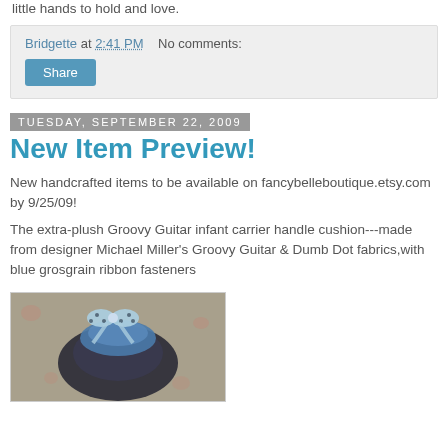little hands to hold and love.
Bridgette at 2:41 PM   No comments:
Share
Tuesday, September 22, 2009
New Item Preview!
New handcrafted items to be available on fancybelleboutique.etsy.com by 9/25/09!
The extra-plush Groovy Guitar infant carrier handle cushion---made from designer Michael Miller's Groovy Guitar & Dumb Dot fabrics,with blue grosgrain ribbon fasteners
[Figure (photo): Photo of a blue infant carrier handle cushion with polka dot bow/ribbon fasteners, placed on a floral fabric background]